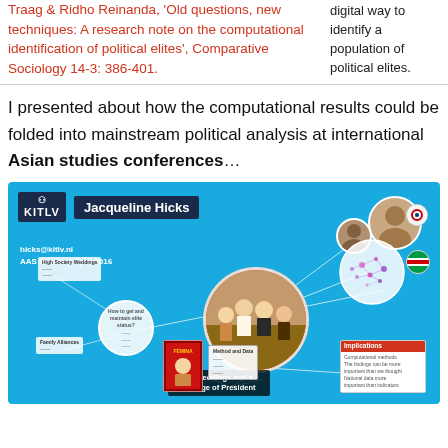Traag & Ridho Reinanda, 'Old questions, new techniques: A research note on the computational identification of political elites', Comparative Sociology 14-3: 386-401.
digital way to identify a population of political elites.
I presented about how the computational results could be folded into mainstream political analysis at international Asian studies conferences…
[Figure (infographic): A Prezi presentation slide showing a network/mind-map diagram on a blue background. Header shows KITLV logo and presenter Jacqueline Hicks, AAS Seattle 2 April 2016. Central node is a circular photo of a wedding group titled '49 Weddings and a Change of President'. Connected nodes include photos of individuals (top right), a network cluster visualization, an Implications box, small circular nodes on the left with text, a magazine image at the bottom, and a Method and Data box.]